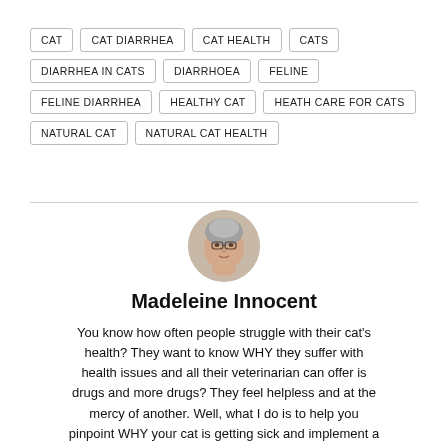CAT
CAT DIARRHEA
CAT HEALTH
CATS
DIARRHEA IN CATS
DIARRHOEA
FELINE
FELINE DIARRHEA
HEALTHY CAT
HEATH CARE FOR CATS
NATURAL CAT
NATURAL CAT HEALTH
Madeleine Innocent
You know how often people struggle with their cat's health? They want to know WHY they suffer with health issues and all their veterinarian can offer is drugs and more drugs? They feel helpless and at the mercy of another. Well, what I do is to help you pinpoint WHY your cat is getting sick and implement a